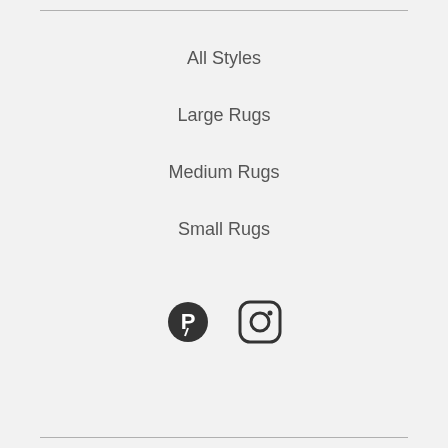All Styles
Large Rugs
Medium Rugs
Small Rugs
[Figure (illustration): Pinterest and Instagram social media icons]